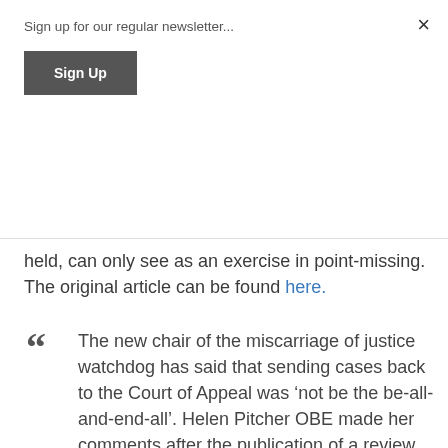Sign up for our regular newsletter...
Sign Up
held, can only see as an exercise in point-missing. The original article can be found here.
The new chair of the miscarriage of justice watchdog has said that sending cases back to the Court of Appeal was ‘not be the be-all-and-end-all’. Helen Pitcher OBE made her comments after the publication of a review of the Criminal Cases Review Commission (CCRC)